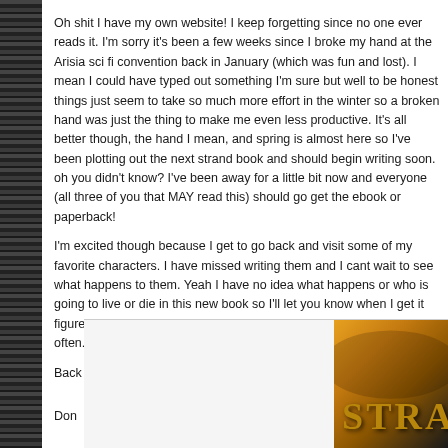Oh shit I have my own website! I keep forgetting since no one ever reads it. I'm sorry it's been a few weeks since I broke my hand at the Arisia sci fi convention back in January (which was fun and lost). I mean I could have typed out something I'm sure but well to be honest things just seem to take so much more effort in the winter so a broken hand was just the thing to make me even less productive. It's all better though, the hand I mean, and spring is almost here so I've been plotting out the next strand book and should begin writing soon. oh you didn't know? I've been away for a little bit now and everyone (all three of you that MAY read this) should go get the ebook or paperback!
I'm excited though because I get to go back and visit some of my favorite characters. I have missed writing them and I cant wait to see what happens to them. Yeah I have no idea what happens or who is going to live or die in this new book so I'll let you know when I get it figured out. Coming spring and I'll see if I can't update this more often.
Back to work with me,

Don
[Figure (illustration): Book cover area showing the word STRAND in gold serif letters against an orange/dark gradient background, with a white space on the left side.]